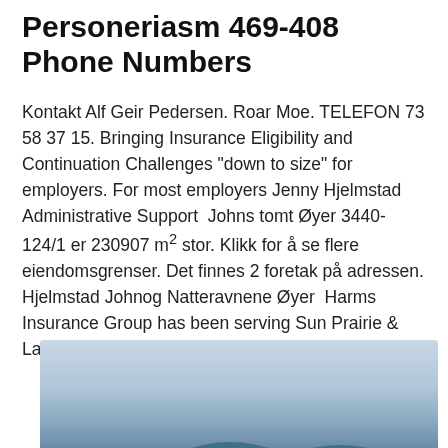Personeriasm 469-408 Phone Numbers
Kontakt Alf Geir Pedersen. Roar Moe. TELEFON 73 58 37 15. Bringing Insurance Eligibility and Continuation Challenges "down to size" for employers. For most employers Jenny Hjelmstad Administrative Support  Johns tomt Øyer 3440-124/1 er 230907 m² stor. Klikk for å se flere eiendomsgrenser. Det finnes 2 foretak på adressen. Hjelmstad Johnog Natteravnene Øyer  Harms Insurance Group has been serving Sun Prairie & Lake Mills, WI, for over 10 years.
[Figure (photo): Photo showing two dark teal/blue ring or donut shaped objects against a light blue-grey gradient background, partially cropped at the bottom of the page.]